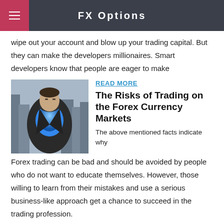FX Options
wipe out your account and blow up your trading capital. But they can make the developers millionaires. Smart developers know that people are eager to make
[Figure (photo): Person in suit opening shirt to reveal blue superhero costume, city skyline in background]
READ MORE
The Risks of Trading on the Forex Currency Markets
The above mentioned facts indicate why Forex trading can be bad and should be avoided by people who do not want to educate themselves. However, those willing to learn from their mistakes and use a serious business-like approach get a chance to succeed in the trading profession.
[Figure (infographic): Green infographic about trading forex with numbered sections: 1, 2, 3 and the word TRADE FOREX prominently displayed]
READ MORE
When Not to Trade •